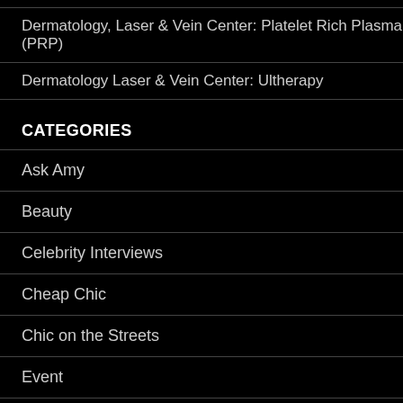Dermatology, Laser & Vein Center: Platelet Rich Plasma (PRP)
Dermatology Laser & Vein Center: Ultherapy
CATEGORIES
Ask Amy
Beauty
Celebrity Interviews
Cheap Chic
Chic on the Streets
Event
Fab-u-shoe Friday
Fashion